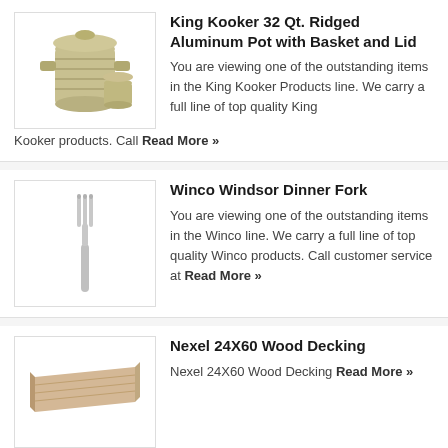[Figure (photo): Aluminum pot with basket and lid]
King Kooker 32 Qt. Ridged Aluminum Pot with Basket and Lid
You are viewing one of the outstanding items in the King Kooker Products line. We carry a full line of top quality King Kooker products. Call Read More »
[Figure (photo): Dinner fork]
Winco Windsor Dinner Fork
You are viewing one of the outstanding items in the Winco line. We carry a full line of top quality Winco products. Call customer service at Read More »
[Figure (photo): Wood decking shelf]
Nexel 24X60 Wood Decking
Nexel 24X60 Wood Decking Read More »
[Figure (photo): Yellow rectangular table with black legs]
Flash Furniture 30"W x72"L Rectangular TableXU-A3072-REC-YEL-T-P-GG
XU-A3072-REC-YEL-T-P-GGFlash Furniture 30"W x 72"L